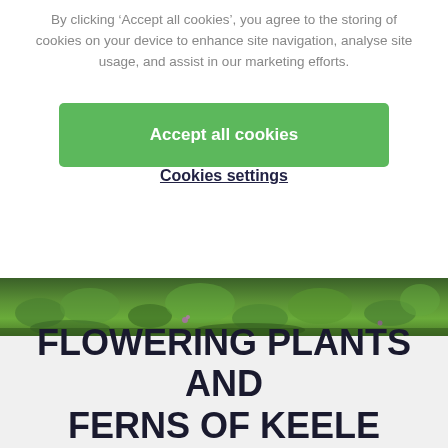By clicking ‘Accept all cookies’, you agree to the storing of cookies on your device to enhance site navigation, analyse site usage, and assist in our marketing efforts.
Accept all cookies
Cookies settings
[Figure (photo): A strip of green grass and plants photographed from above, showing lush green foliage with hints of small purple flowers.]
FLOWERING PLANTS AND FERNS OF KEELE